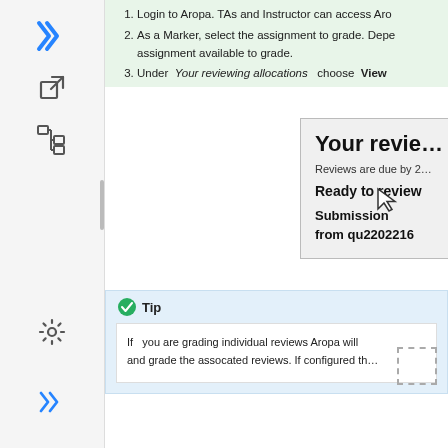[Figure (screenshot): Left sidebar with Confluence/Jira-style navigation icons: X logo, external link icon, tree/hierarchy icon, vertical divider, settings gear icon, and chevrons icon]
1. Login to Aropa. TAs and Instructor can access Aro...
2. As a Marker, select the assignment to grade. Depe... assignment available to grade.
3. Under Your reviewing allocations choose View...
[Figure (screenshot): Screenshot of Aropa interface showing 'Your revie...' heading, 'Reviews are due by 2...', 'Ready to review' heading, and 'Submission from qu2202216' with cursor pointer visible]
Tip
If you are grading individual reviews Aropa will ... and grade the assocated reviews. If configured th...